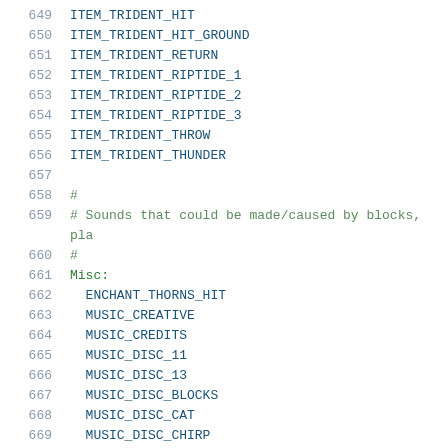649    ITEM_TRIDENT_HIT
650    ITEM_TRIDENT_HIT_GROUND
651    ITEM_TRIDENT_RETURN
652    ITEM_TRIDENT_RIPTIDE_1
653    ITEM_TRIDENT_RIPTIDE_2
654    ITEM_TRIDENT_RIPTIDE_3
655    ITEM_TRIDENT_THROW
656    ITEM_TRIDENT_THUNDER
657
658    #
659    # Sounds that could be made/caused by blocks, pla
660    #
661    Misc:
662      ENCHANT_THORNS_HIT
663      MUSIC_CREATIVE
664      MUSIC_CREDITS
665      MUSIC_DISC_11
666      MUSIC_DISC_13
667      MUSIC_DISC_BLOCKS
668      MUSIC_DISC_CAT
669      MUSIC_DISC_CHIRP
670      MUSIC_DISC_FAR
671      MUSIC_DISC_MALL